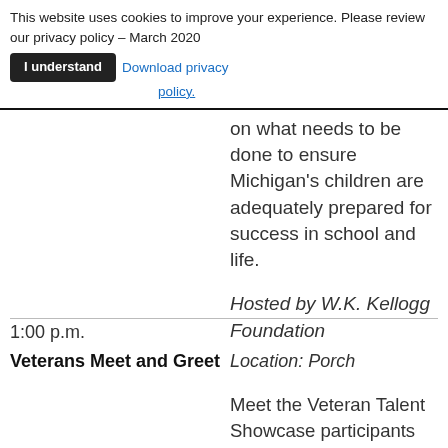This website uses cookies to improve your experience. Please review our privacy policy – March 2020  [I understand]  Download privacy policy.
on what needs to be done to ensure Michigan's children are adequately prepared for success in school and life.
Hosted by W.K. Kellogg Foundation
1:00 p.m.
Veterans Meet and Greet   Location: Porch
Meet the Veteran Talent Showcase participants on the Grand Hotel Porch